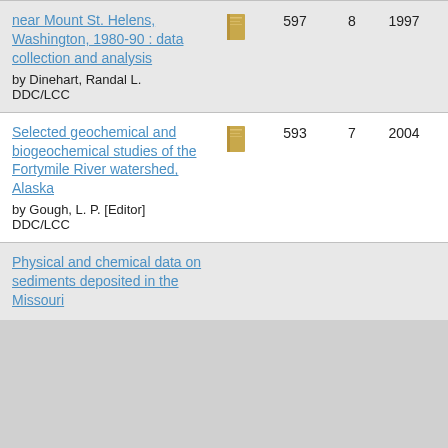| Title | Type | Count | Num | Year1 | Year2 |
| --- | --- | --- | --- | --- | --- |
| near Mount St. Helens, Washington, 1980-90 : data collection and analysis
by Dinehart, Randal L.
DDC/LCC | [book icon] | 597 | 8 | 1997 | 1998 |
| Selected geochemical and biogeochemical studies of the Fortymile River watershed, Alaska
by Gough, L. P. [Editor]
DDC/LCC | [book icon] | 593 | 7 | 2004 | 2004 |
| Physical and chemical data on sediments deposited in the Missouri | [book icon] |  |  |  |  |